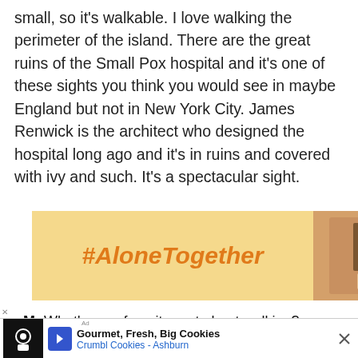small, so it's walkable. I love walking the perimeter of the island. There are the great ruins of the Small Pox hospital and it's one of these sights you think you would see in maybe England but not in New York City. James Renwick is the architect who designed the hospital long ago and it's in ruins and covered with ivy and such. It's a spectacular sight.
[Figure (photo): Advertisement banner with yellow background showing '#AloneTogether' text in orange italic font alongside a photo of a woman working at a laptop, with close button and heart/share action buttons]
oM: What's your favorite part about walking?
TT: Walking is one of the greatest things do. It's mentally and physically good for you and it's good for the environment. The more you walk
[Figure (photo): WHAT'S NEXT box with small city photo thumbnail and text 'Walk This Way: The 4...']
[Figure (photo): Bottom advertisement banner for Crumbl Cookies - Ashburn, Gourmet, Fresh, Big Cookies, with logo and navigation arrow icon]